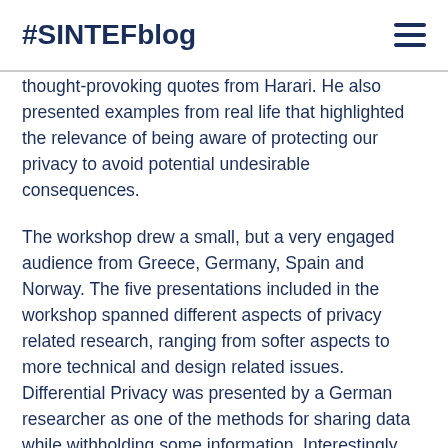#SINTEFblog
thought-provoking quotes from Harari. He also presented examples from real life that highlighted the relevance of being aware of protecting our privacy to avoid potential undesirable consequences.
The workshop drew a small, but a very engaged audience from Greece, Germany, Spain and Norway. The five presentations included in the workshop spanned different aspects of privacy related research, ranging from softer aspects to more technical and design related issues. Differential Privacy was presented by a German researcher as one of the methods for sharing data while withholding some information. Interestingly, there was less focus on the concept of trust in the presentations.